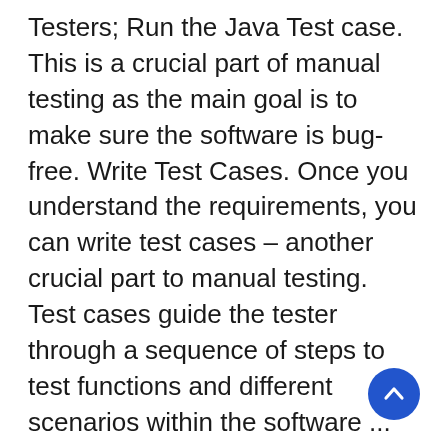Testers; Run the Java Test case. This is a crucial part of manual testing as the main goal is to make sure the software is bug-free. Write Test Cases. Once you understand the requirements, you can write test cases – another crucial part to manual testing. Test cases guide the tester through a sequence of steps to test functions and different scenarios within the software ... backlog item. In manual testing, your development team will execute test cases by hand, without the aid of scripts or other tools. In automated testing, tests are conducted. In Manual Testing , Testers